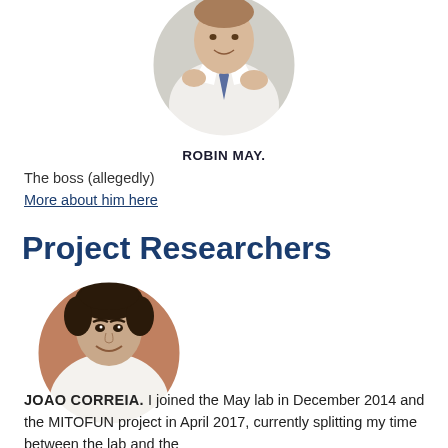[Figure (photo): Circular portrait photo of Robin May, a man in a white shirt and tie with hands gesturing]
ROBIN MAY.
The boss (allegedly)
More about him here
Project Researchers
[Figure (photo): Circular portrait photo of Joao Correia, a man with dark curly hair, smiling]
JOAO CORREIA. I joined the May lab in December 2014 and the MITOFUN project in April 2017, currently splitting my time between the lab and the